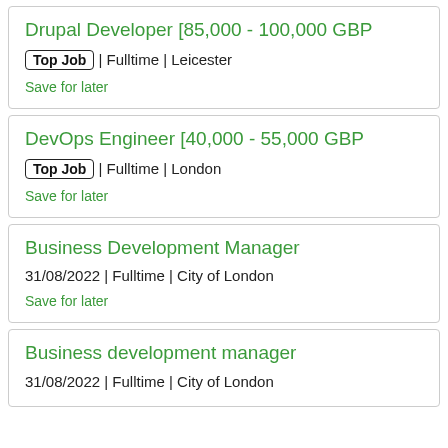Drupal Developer [85,000 - 100,000 GBP
Top Job | Fulltime | Leicester
Save for later
DevOps Engineer [40,000 - 55,000 GBP
Top Job | Fulltime | London
Save for later
Business Development Manager
31/08/2022 | Fulltime | City of London
Save for later
Business development manager
31/08/2022 | Fulltime | City of London